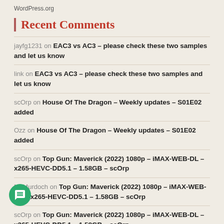WordPress.org
Recent Comments
jayfg1231 on EAC3 vs AC3 – please check these two samples and let us know
link on EAC3 vs AC3 – please check these two samples and let us know
scOrp on House Of The Dragon – Weekly updates – S01E02 added
Ozz on House Of The Dragon – Weekly updates – S01E02 added
scOrp on Top Gun: Maverick (2022) 1080p – iMAX-WEB-DL – x265-HEVC-DD5.1 – 1.58GB – scOrp
McMurdoch on Top Gun: Maverick (2022) 1080p – iMAX-WEB-DL – x265-HEVC-DD5.1 – 1.58GB – scOrp
scOrp on Top Gun: Maverick (2022) 1080p – iMAX-WEB-DL – x265-HEVC-DD5.1 – 1.58GB – scOrp
McMurdoch on Top Gun: Maverick (2022) 1080p – iMAX-WEB-DL – x265-HEVC-DD5.1 – 1.58GB – scOrp
engking on [RG+NF+CnU] DC League Of Super Pets (2022) 1080p AMZ-WEB-DL – x265-HEVC-AAC – 940MB – scOrp
Tom on [RG+NF+CnU] Vengeance (2022) 720p – WEB-DL – x265-